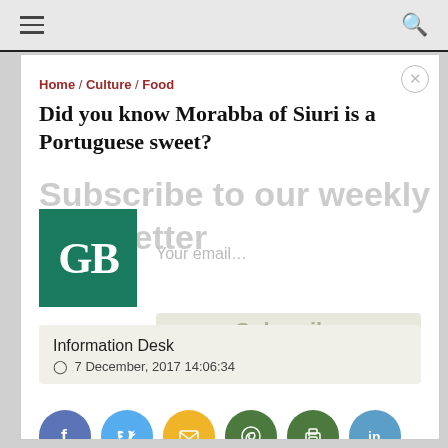Navigation bar with hamburger menu and search icon
Home / Culture / Food
Did you know Morabba of Siuri is a Portuguese sweet?
[Figure (logo): GB logo - green square with white letters GB in serif font]
Information Desk
7 December, 2017 14:06:34
[Figure (infographic): Social sharing icons row: Facebook (blue), Twitter (light blue), Email (yellow/orange), WhatsApp (green), Print (green), LinkedIn (blue)]